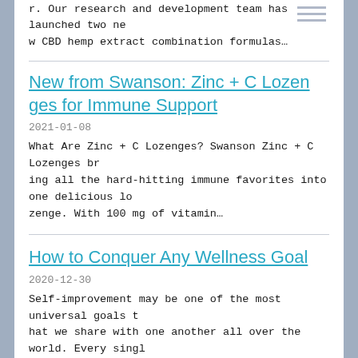r. Our research and development team has launched two new CBD hemp extract combination formulas…
New from Swanson: Zinc + C Lozenges for Immune Support
2021-01-08
What Are Zinc + C Lozenges? Swanson Zinc + C Lozenges bring all the hard-hitting immune favorites into one delicious lozenge. With 100 mg of vitamin…
How to Conquer Any Wellness Goal
2020-12-30
Self-improvement may be one of the most universal goals that we share with one another all over the world. Every single person at some point has put…